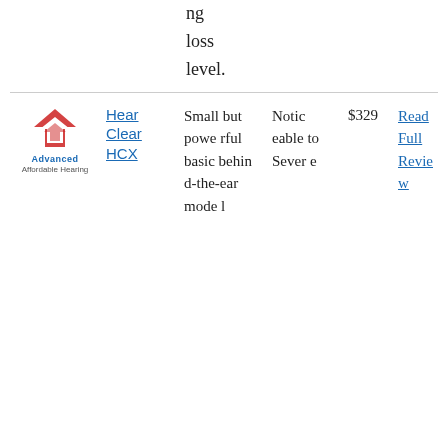ng loss level.
|  | Product | Description | Hearing Loss Level | Price | Review |
| --- | --- | --- | --- | --- | --- |
| Advanced Affordable Hearing logo | HearClear HCX | Small but powerful basic behind-the-ear model | Noticeable to Severe | $329 | Read Full Review |